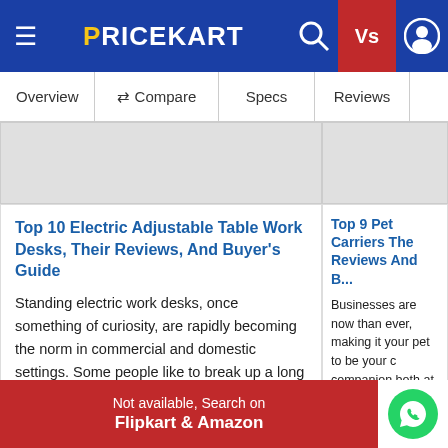PRICEKART
Overview  Compare  Specs  Reviews
Top 10 Electric Adjustable Table Work Desks, Their Reviews, And Buyer's Guide
Standing electric work desks, once something of curiosity, are rapidly becoming the norm in commercial and domestic settings. Some people like to break up a long day sitting at an electric work desk by using an adjustable electric work desk....
Top 9 Pet Carriers The Reviews And B...
Businesses are now than ever, making it your pet to be your c companion both at h you're out and abou or dog for life's little necessitates a depe
Not available, Search on Flipkart & Amazon